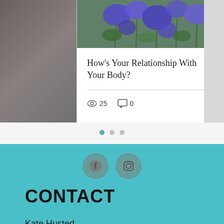[Figure (photo): Photo of blue/purple wildflowers with green stems, cropped top portion of a blog card]
How's Your Relationship With Your Body?
25 views  0 comments  like
[Figure (other): Pagination dots: one filled teal dot and two grey dots indicating carousel position]
[Figure (other): Social media icons: Facebook and Instagram circles in muted rose/grey on teal background]
CONTACT
Kate Husted
P.O. Box 1222
Bayfield, CO 81122